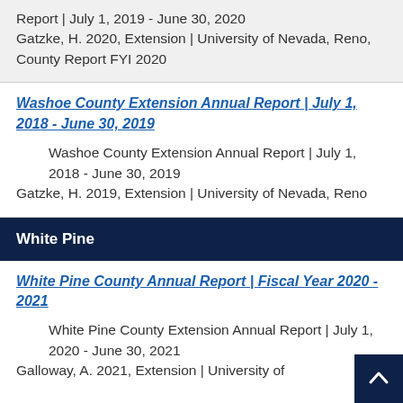Report | July 1, 2019 - June 30, 2020
Gatzke, H. 2020, Extension | University of Nevada, Reno, County Report FYI 2020
Washoe County Extension Annual Report | July 1, 2018 - June 30, 2019
Washoe County Extension Annual Report | July 1, 2018 - June 30, 2019
Gatzke, H. 2019, Extension | University of Nevada, Reno
White Pine
White Pine County Annual Report | Fiscal Year 2020 - 2021
White Pine County Extension Annual Report | July 1, 2020 - June 30, 2021
Galloway, A. 2021, Extension | University of